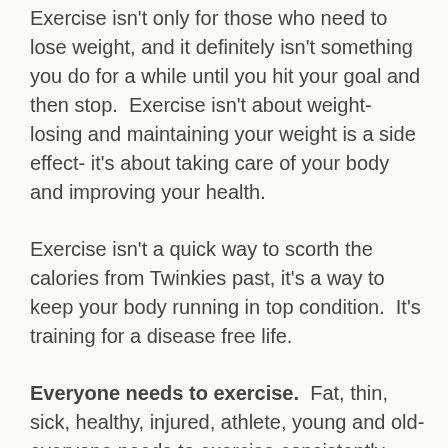Exercise isn't only for those who need to lose weight, and it definitely isn't something you do for a while until you hit your goal and then stop.  Exercise isn't about weight- losing and maintaining your weight is a side effect- it's about taking care of your body and improving your health.
Exercise isn't a quick way to scorth the calories from Twinkies past, it's a way to keep your body running in top condition.  It's training for a disease free life.
Everyone needs to exercise.  Fat, thin, sick, healthy, injured, athlete, young and old- everyone needs to exercise consistently.   Try and think of someone that doesn't need to exercise.  Go ahead, toss 'em at me.